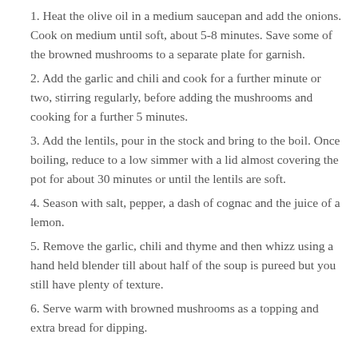1. Heat the olive oil in a medium saucepan and add the onions. Cook on medium until soft, about 5-8 minutes. Save some of the browned mushrooms to a separate plate for garnish.
2. Add the garlic and chili and cook for a further minute or two, stirring regularly, before adding the mushrooms and cooking for a further 5 minutes.
3. Add the lentils, pour in the stock and bring to the boil. Once boiling, reduce to a low simmer with a lid almost covering the pot for about 30 minutes or until the lentils are soft.
4. Season with salt, pepper, a dash of cognac and the juice of a lemon.
5. Remove the garlic, chili and thyme and then whizz using a hand held blender till about half of the soup is pureed but you still have plenty of texture.
6. Serve warm with browned mushrooms as a topping and extra bread for dipping.